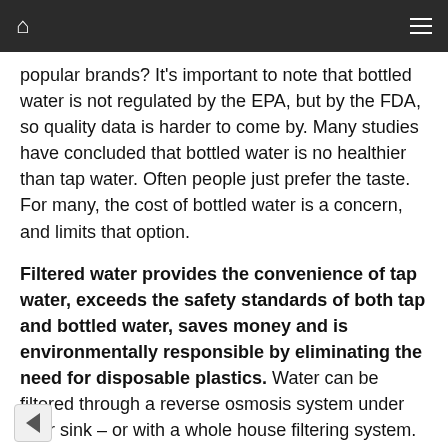Navigation bar with home icon and menu icon
popular brands? It's important to note that bottled water is not regulated by the EPA, but by the FDA, so quality data is harder to come by. Many studies have concluded that bottled water is no healthier than tap water. Often people just prefer the taste. For many, the cost of bottled water is a concern, and limits that option.
Filtered water provides the convenience of tap water, exceeds the safety standards of both tap and bottled water, saves money and is environmentally responsible by eliminating the need for disposable plastics. Water can be filtered through a reverse osmosis system under your sink – or with a whole house filtering system. The system can provide clean, safe drinking water through a tap at your sink or through your refrigerator.